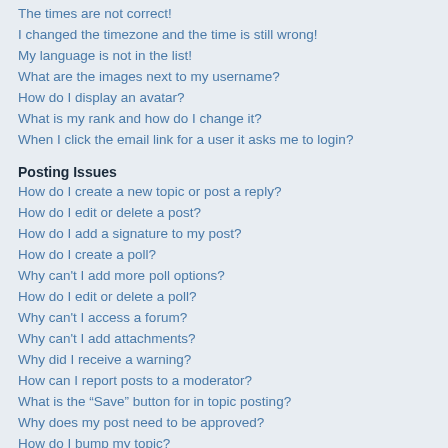The times are not correct!
I changed the timezone and the time is still wrong!
My language is not in the list!
What are the images next to my username?
How do I display an avatar?
What is my rank and how do I change it?
When I click the email link for a user it asks me to login?
Posting Issues
How do I create a new topic or post a reply?
How do I edit or delete a post?
How do I add a signature to my post?
How do I create a poll?
Why can't I add more poll options?
How do I edit or delete a poll?
Why can't I access a forum?
Why can't I add attachments?
Why did I receive a warning?
How can I report posts to a moderator?
What is the “Save” button for in topic posting?
Why does my post need to be approved?
How do I bump my topic?
Formatting and Topic Types
What is BBCode?
Can I use HTML?
What are Smilies?
Can I post images?
What are global announcements?